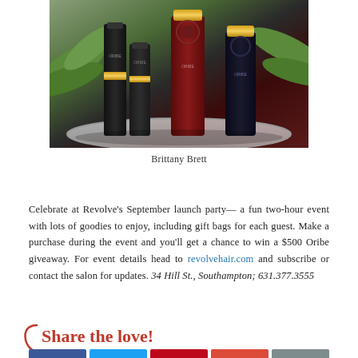[Figure (photo): Collection of Oribe hair care products — dark bottles of various sizes arranged on a plate with green leaves in background]
Brittany Brett
Celebrate at Revolve's September launch party— a fun two-hour event with lots of goodies to enjoy, including gift bags for each guest. Make a purchase during the event and you'll get a chance to win a $500 Oribe giveaway. For event details head to revolvehair.com and subscribe or contact the salon for updates. 34 Hill St., Southampton; 631.377.3555
Share the love!